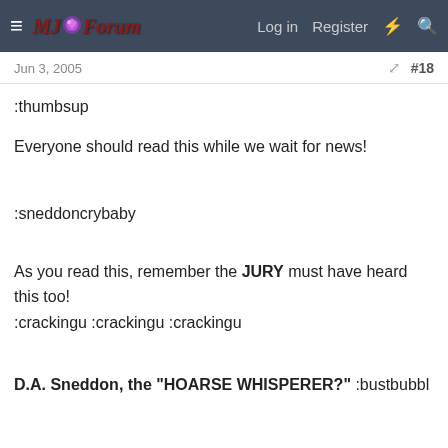≡ MJJForum Log in Register ⚡ 🔍
Jun 3, 2005  #18
:thumbsup
Everyone should read this while we wait for news!
:sneddoncrybaby
As you read this, remember the JURY must have heard this too! :crackingu :crackingu :crackingu
D.A. Sneddon, the "HOARSE WHISPERER?" :bustbubbl